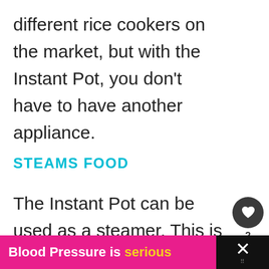different rice cookers on the market, but with the Instant Pot, you don't have to have another appliance.
STEAMS FOOD
The Instant Pot can be used as a steamer. This is a great way to cook veggies or seafood. When you an Instant Pot, that means you don't h
[Figure (other): Floating UI widget with heart/favorite button (count: 2) and share button]
[Figure (other): What's Next panel with avatar illustration and text 'Instant Pot Troubleshooti...']
Blood Pressure is serious